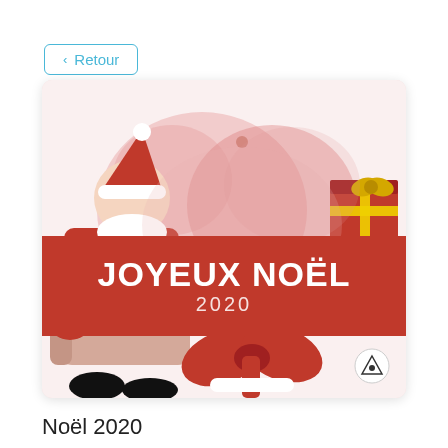‹ Retour
[Figure (illustration): Album cover for 'Joyeux Noël 2020' showing Santa Claus sitting in a chair with red gift boxes and decorative hearts and circles on a white background, with large bold white text 'JOYEUX NOËL' and '2020' on a red banner across the middle.]
Noël 2020